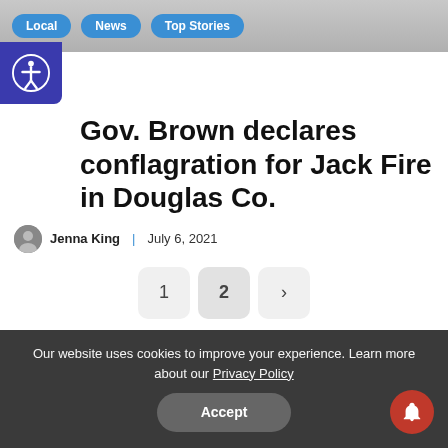Local | News | Top Stories
Gov. Brown declares conflagration for Jack Fire in Douglas Co.
Jenna King | July 6, 2021
1 2 >
[Figure (photo): Newsletter advertisement showing an envelope with @ symbol on a dark blue background with 'NEWSLETTER' text, and a smartphone showing a newsletter on the right side]
Our website uses cookies to improve your experience. Learn more about our Privacy Policy
Accept